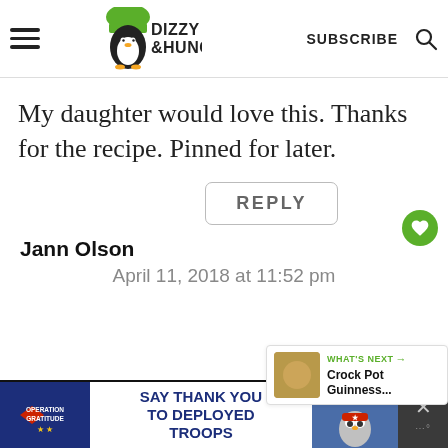Dizzy Busy & Hungry — SUBSCRIBE
My daughter would love this. Thanks for the recipe. Pinned for later.
REPLY
880
Jann Olson
April 11, 2018 at 11:52 pm
WHAT'S NEXT → Crock Pot Guinness...
[Figure (other): Advertisement banner: Operation Gratitude — SAY THANK YOU TO DEPLOYED TROOPS]
SAY THANK YOU TO DEPLOYED TROOPS